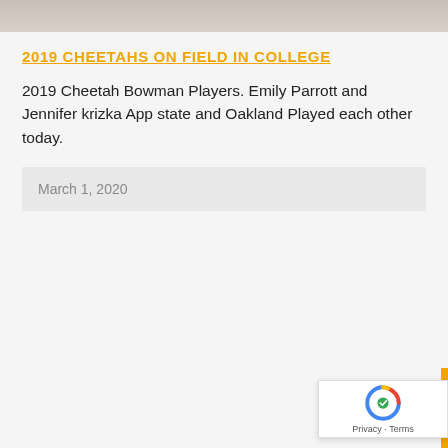[Figure (photo): Cropped photo strip at the top of the page showing partial image content]
2019 CHEETAHS ON FIELD IN COLLEGE
2019 Cheetah Bowman Players. Emily Parrott and Jennifer krizka App state and Oakland Played each other today.
March 1, 2020